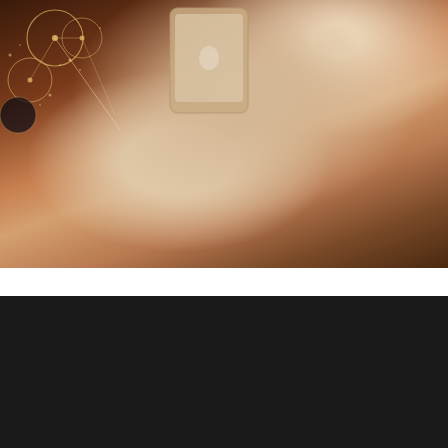[Figure (photo): Person's hands holding a smartphone, photographed from above. Warm brown/orange tones. Decorative golden circles and dot patterns overlay the top-left corner of the image.]
We use cookies on our website to give you the most relevant experience by remembering your preferences and repeat visits. By clicking “Accept”, you consent to the use of ALL the cookies.
Cookie settings
ACCEPT